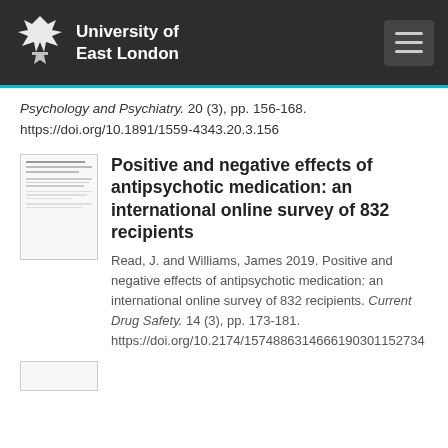University of East London
Psychology and Psychiatry. 20 (3), pp. 156-168. https://doi.org/10.1891/1559-4343.20.3.156
Positive and negative effects of antipsychotic medication: an international online survey of 832 recipients
Read, J. and Williams, James 2019. Positive and negative effects of antipsychotic medication: an international online survey of 832 recipients. Current Drug Safety. 14 (3), pp. 173-181. https://doi.org/10.2174/157488631466619030115274